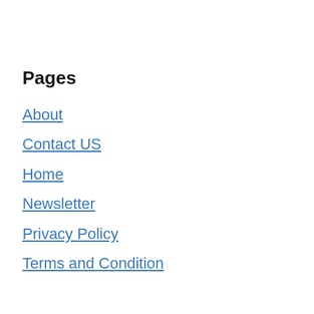Pages
About
Contact US
Home
Newsletter
Privacy Policy
Terms and Condition
Partner Sites